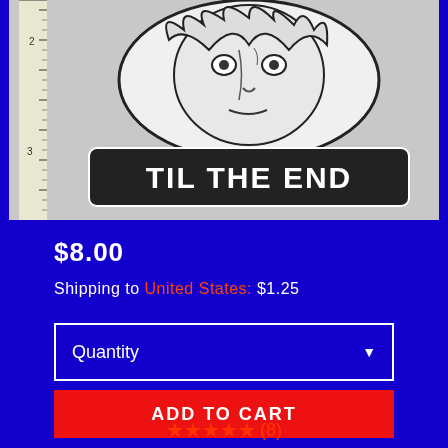[Figure (photo): Embroidered patch of Chucky horror character with text 'TIL THE END', shown next to a ruler measuring approximately 3 inches, black and white embroidery on white background]
$8.00
Shipping to United States: $1.25
Quantity
ADD TO CART
★★★★★(8)